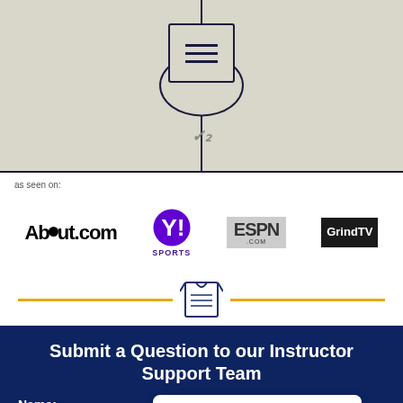[Figure (illustration): Top-down view of a basketball court center court area with jump ball circle, center line, and court markings on a beige/tan background.]
as seen on:
[Figure (logo): About.com logo in bold black text]
[Figure (logo): Yahoo! Sports logo with purple Y! icon and SPORTS text below]
[Figure (logo): ESPN.com logo in dark text on gray background]
[Figure (logo): GrindTV logo in white text on black background]
[Figure (illustration): Decorative divider with gold/yellow horizontal lines and a shirt/jersey icon in the center]
Submit a Question to our Instructor Support Team
Name:
We're Online! How may I help you today?